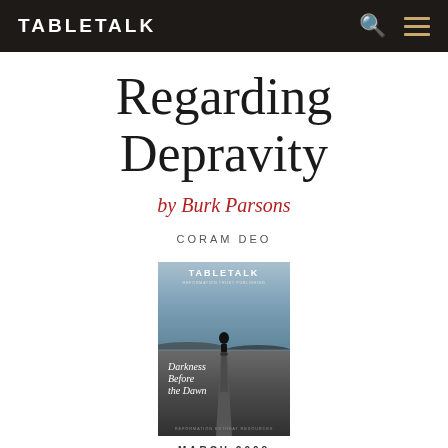TABLETALK
Regarding Depravity
by Burk Parsons
CORAM DEO
[Figure (photo): Book cover of Tabletalk magazine, March 2008. Shows a silhouette of a person standing at the end of a pier or path over water, with text 'Darkness Before the Dawn' in italic on the cover.]
MARCH 2008
VIEW ISSUE